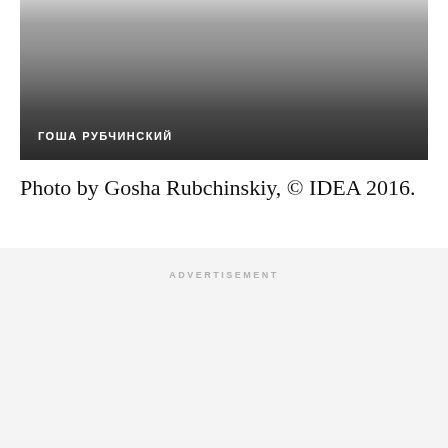[Figure (photo): Black and white fashion photograph showing a person's torso wearing dark clothing, with Cyrillic text overlay reading ГОША РУБЧИНСКИЙ]
Photo by Gosha Rubchinskiy, © IDEA 2016.
ADVERTISEMENT